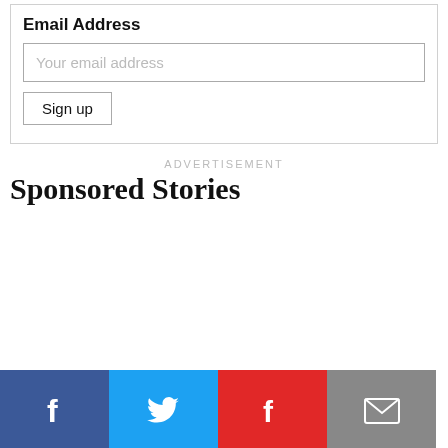Email Address
Your email address
Sign up
ADVERTISEMENT
Sponsored Stories
[Figure (infographic): Social sharing bar with four buttons: Facebook (blue, f icon), Twitter (light blue, bird icon), Flipboard (red, f icon), Email (grey, envelope icon)]